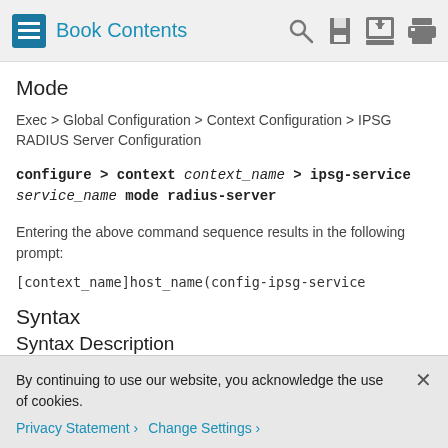Book Contents
Mode
Exec > Global Configuration > Context Configuration > IPSG RADIUS Server Configuration
configure > context context_name > ipsg-service service_name mode radius-server
Entering the above command sequence results in the following prompt:
[context_name]host_name(config-ipsg-service
Syntax
Syntax Description
setup-timeout setup_timeout_seconds
By continuing to use our website, you acknowledge the use of cookies.
Privacy Statement > Change Settings >